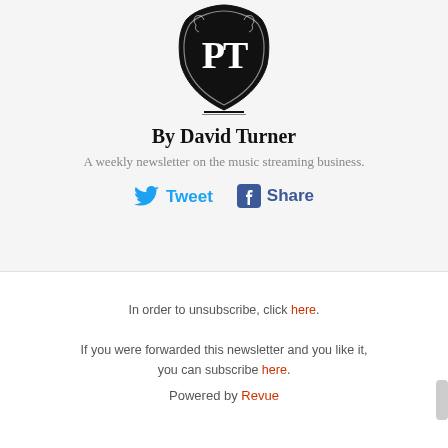[Figure (logo): Ornate black decorative badge/crest logo with stylized letters]
By David Turner
A weekly newsletter on the music streaming business.
[Figure (infographic): Tweet and Share social buttons with Twitter bird icon and Facebook icon]
In order to unsubscribe, click here.
If you were forwarded this newsletter and you like it, you can subscribe here.
Powered by Revue